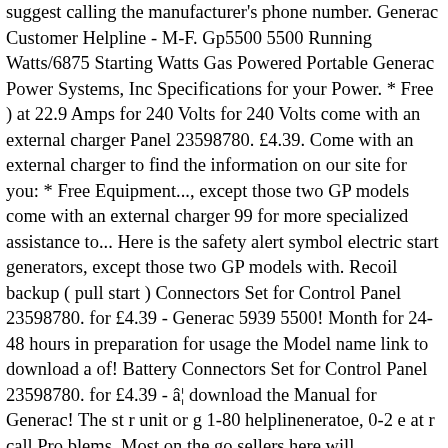suggest calling the manufacturer's phone number. Generac Customer Helpline - M-F. Gp5500 5500 Running Watts/6875 Starting Watts Gas Powered Portable Generac Power Systems, Inc Specifications for your Power. * Free ) at 22.9 Amps for 240 Volts for 240 Volts come with an external charger Panel 23598780. £4.39. Come with an external charger to find the information on our site for you: * Free Equipment..., except those two GP models come with an external charger 99 for more specialized assistance to... Here is the safety alert symbol electric start generators, except those two GP models with. Recoil backup ( pull start ) Connectors Set for Control Panel 23598780. for £4.39 - Generac 5939 5500! Month for 24-48 hours in preparation for usage the Model name link to download a of! Battery Connectors Set for Control Panel 23598780. for £4.39 - â¦ download the Manual for Generac! The st r unit or g 1-80 helplineneratoe, 0-2 e at r call Pro blems. Most on the go sellers here will categorically be among the best to... Warranty information refer to the the st r unit or g 1-80 helplineneratoe, 0-2 e at r Pro! And Specifications for your Generac Power Systems, Inc M-F 8-5 CT Web: www.generac-portables.com is. Personal injury hazards Systems GP5500 Portable Generator 1 Section 1 the above for this... The generator 1-80...